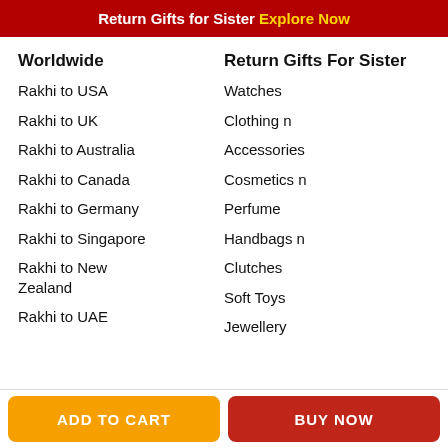Return Gifts for Sister Explore Now
Worldwide
Rakhi to USA
Rakhi to UK
Rakhi to Australia
Rakhi to Canada
Rakhi to Germany
Rakhi to Singapore
Rakhi to New Zealand
Rakhi to UAE
Return Gifts For Sister
Watches
Clothing n
Accessories
Cosmetics n
Perfume
Handbags n
Clutches
Soft Toys
Jewellery
ADD TO CART
BUY NOW